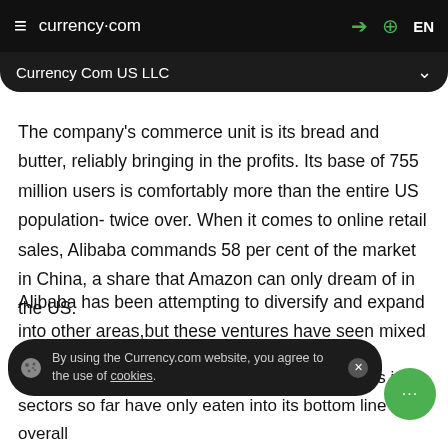currency.com  EN
Currency Com US LLC
The company's commerce unit is its bread and butter, reliably bringing in the profits. Its base of 755 million users is comfortably more than the entire US population- twice over. When it comes to online retail sales, Alibaba commands 58 per cent of the market in China, a share that Amazon can only dream of in the US.
Alibaba has been attempting to diversify and expand into other areas,but these ventures have seen mixed success. By using the Currency.com website, you agree to the use of cookies.
tight margins, and the e-commerce giant's efforts in sectors so far have only eaten into its bottom line overall